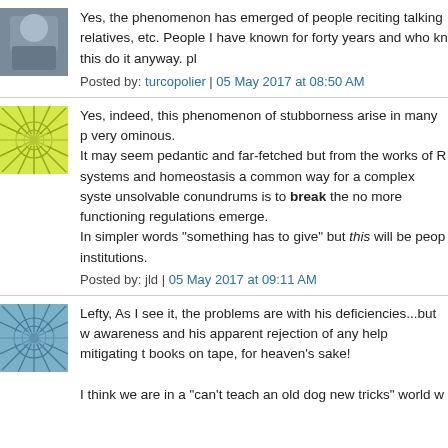Yes, the phenomenon has emerged of people reciting talking relatives, etc. People I have known for forty years and who kn this do it anyway. pl
Posted by: turcopolier | 05 May 2017 at 08:50 AM
Yes, indeed, this phenomenon of stubborness arise in many p very ominous.
It may seem pedantic and far-fetched but from the works of R systems and homeostasis a common way for a complex syste unsolvable conundrums is to break the no more functioning regulations emerge.
In simpler words "something has to give" but this will be peo institutions.
Posted by: jld | 05 May 2017 at 09:11 AM
Lefty, As I see it, the problems are with his deficiencies...but w awareness and his apparent rejection of any help mitigating t books on tape, for heaven's sake!

I think we are in a "can't teach an old dog new tricks" world w